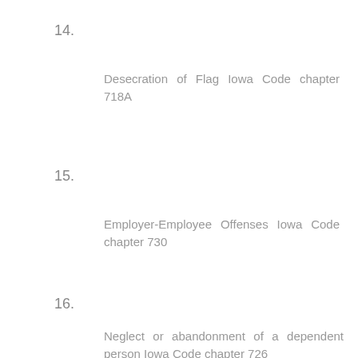14.
Desecration of Flag Iowa Code chapter 718A
15.
Employer-Employee Offenses Iowa Code chapter 730
16.
Neglect or abandonment of a dependent person Iowa Code chapter 726